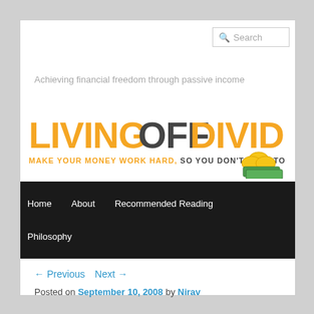Search
Achieving financial freedom through passive income
[Figure (logo): Living Off Dividends logo — orange and dark text reading 'LIVINGOFFDIVIDENDS' with tagline 'MAKE YOUR MONEY WORK HARD, SO YOU DON'T HAVE TO' and an illustration of gold coins and cash]
Home   About   Recommended Reading   Philosophy
← Previous   Next →
Posted on September 10, 2008 by Nirav